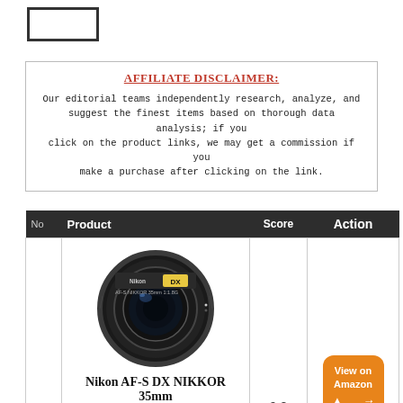[Figure (logo): Rectangle logo placeholder box in top left]
AFFILIATE DISCLAIMER:
Our editorial teams independently research, analyze, and suggest the finest items based on thorough data analysis; if you click on the product links, we may get a commission if you make a purchase after clicking on the link.
| No | Product | Score | Action |
| --- | --- | --- | --- |
| 1 | Nikon AF-S DX NIKKOR 35mm f/1.8G Lens with Auto Focus [image of lens] | 9.8 | View on Amazon |